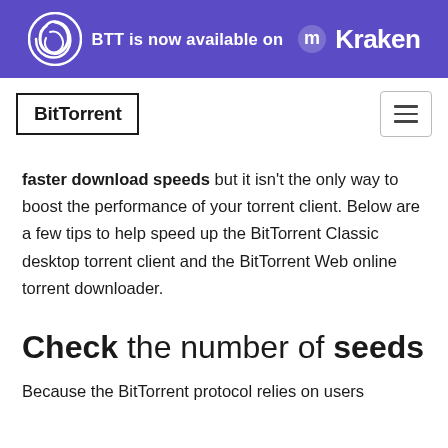[Figure (logo): Purple banner with BitTorrent spiral logo and text 'BTT is now available on' followed by Kraken logo and wordmark]
[Figure (logo): BitTorrent logo in black border box on white navbar, with hamburger menu button on right]
faster download speeds but it isn't the only way to boost the performance of your torrent client. Below are a few tips to help speed up the BitTorrent Classic desktop torrent client and the BitTorrent Web online torrent downloader.
Check the number of seeds
Because the BitTorrent protocol relies on users